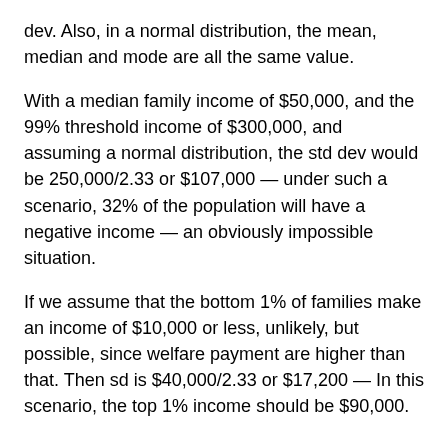dev. Also, in a normal distribution, the mean, median and mode are all the same value.
With a median family income of $50,000, and the 99% threshold income of $300,000, and assuming a normal distribution, the std dev would be 250,000/2.33 or $107,000 — under such a scenario, 32% of the population will have a negative income — an obviously impossible situation.
If we assume that the bottom 1% of families make an income of $10,000 or less, unlikely, but possible, since welfare payment are higher than that. Then sd is $40,000/2.33 or $17,200 — In this scenario, the top 1% income should be $90,000.